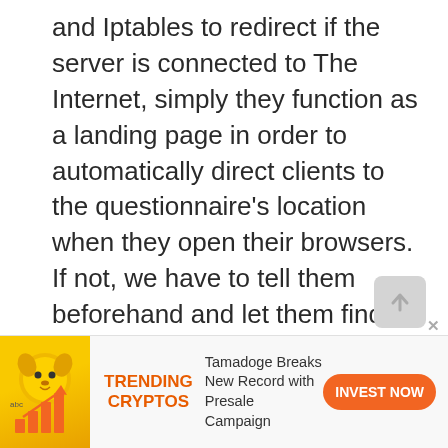and Iptables to redirect if the server is connected to The Internet, simply they function as a landing page in order to automatically direct clients to the questionnaire's location when they open their browsers. If not, we have to tell them beforehand and let them find the location manually. With all of this done the Raspberry Pi will function as a hand carry server.
[Figure (infographic): Advertisement banner: trending cryptos with dog mascot and bar chart graphic, orange INVEST NOW button, text 'Tamadoge Breaks New Record with Presale Campaign']